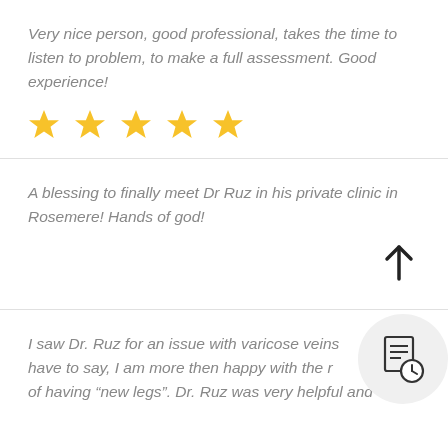Very nice person, good professional, takes the time to listen to problem, to make a full assessment. Good experience!
[Figure (other): Five gold star rating icons]
A blessing to finally meet Dr Ruz in his private clinic in Rosemere! Hands of god!
[Figure (other): Upward arrow icon]
I saw Dr. Ruz for an issue with varicose veins have to say, I am more then happy with the r of having "new legs". Dr. Ruz was very helpful and
[Figure (other): Calendar/clock icon in a light gray circle]